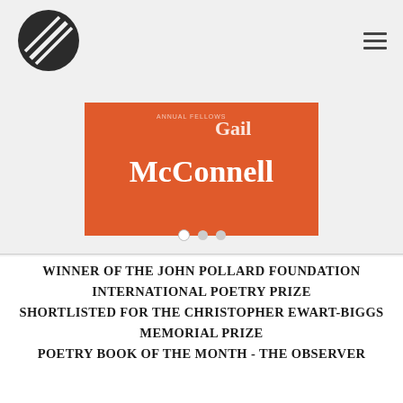[Figure (logo): Circular logo with diagonal stripe lines on dark background, publisher or website logo]
[Figure (illustration): Orange book cover banner partially visible, showing author name 'McConnell' in white serif text on orange background, with 'Annual fellows' text at top]
WINNER OF THE JOHN POLLARD FOUNDATION INTERNATIONAL POETRY PRIZE SHORTLISTED FOR THE CHRISTOPHER EWART-BIGGS MEMORIAL PRIZE POETRY BOOK OF THE MONTH - THE OBSERVER